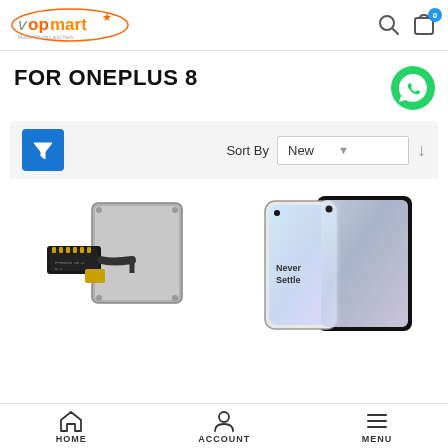[Figure (logo): Vopmart logo with orange star, orange and grey text, tagline below]
FOR ONEPLUS 8
[Figure (illustration): Green WhatsApp icon circle]
[Figure (other): Filter button (blue funnel icon), Sort By label, New dropdown, down arrow]
[Figure (photo): OnePlus 8 fingerprint sensor flex cable component]
[Figure (photo): OnePlus 8 tempered glass screen protector showing 'Never Settle' on phone screen]
[Figure (other): Bottom navigation bar with HOME, ACCOUNT, MENU icons]